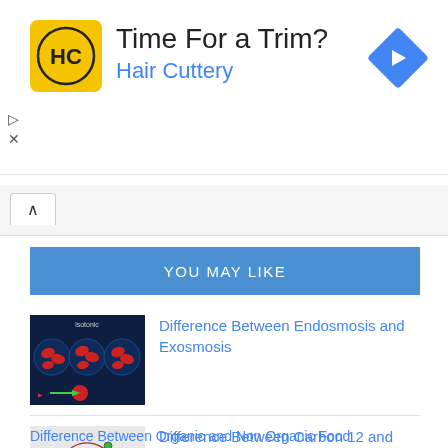[Figure (screenshot): Hair Cuttery advertisement banner with yellow logo, 'Time For a Trim?' headline, 'Hair Cuttery' subtitle in blue, and a blue diamond arrow icon on the right]
[Figure (screenshot): Browser tab bar with a caret/chevron up icon tab]
YOU MAY LIKE
[Figure (photo): Thumbnail image showing red blood cells in isotonic solution on dark blue background with osmosis diagram]
Difference Between Endosmosis and Exosmosis
[Figure (illustration): Thumbnail showing atomic model of Carbon with electrons orbiting nucleus on light grey background]
Difference Between Carbon 12 and Carbon 14
Difference Between Organic and Non Organic Food